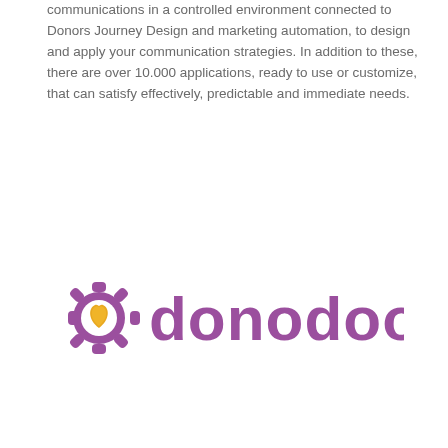communications in a controlled environment connected to Donors Journey Design and marketing automation, to design and apply your communication strategies. In addition to these, there are over 10.000 applications, ready to use or customize, that can satisfy effectively, predictable and immediate needs.
[Figure (logo): Donodoo logo: a purple gear/sun shape with a yellow heart in the center, followed by the word 'donodoo' in purple lowercase letters]